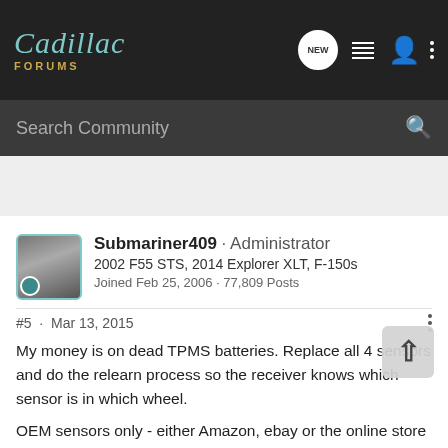Cadillac FORUMS
Search Community
Submariner409 · Administrator
2002 F55 STS, 2014 Explorer XLT, F-150s
Joined Feb 25, 2006 · 77,809 Posts
#5 · Mar 13, 2015
My money is on dead TPMS batteries. Replace all 4 sensors and do the relearn process so the receiver knows which sensor is in which wheel.
OEM sensors only - either Amazon, ebay or the online store for